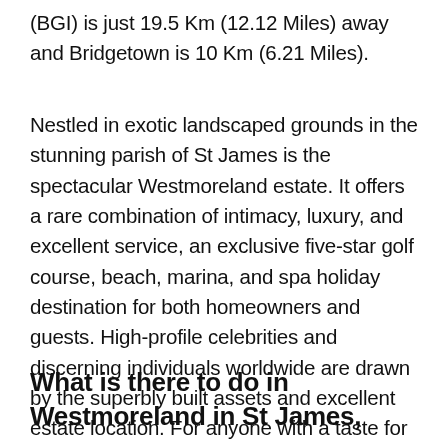(BGI) is just 19.5 Km (12.12 Miles) away and Bridgetown is 10 Km (6.21 Miles).
Nestled in exotic landscaped grounds in the stunning parish of St James is the spectacular Westmoreland estate. It offers a rare combination of intimacy, luxury, and excellent service, an exclusive five-star golf course, beach, marina, and spa holiday destination for both homeowners and guests. High-profile celebrities and discerning individuals worldwide are drawn by the superbly built assets and excellent estate location. For anyone with a taste for comfortable living, Westmoreland exceeds every desire.
What is there to do in Westmoreland in St James,